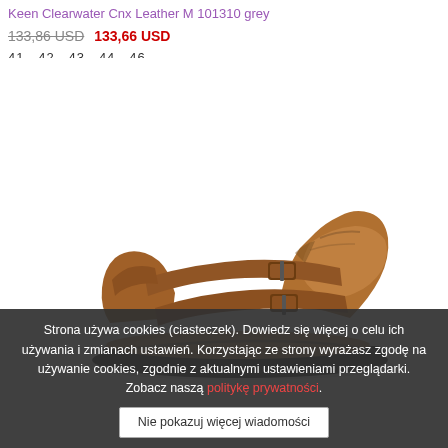Keen Clearwater Cnx Leather M 101310 grey
133,86 USD  133,66 USD
41  42  43  44  46
[Figure (photo): Brown leather Keen Clearwater CNX sandal shown in side profile on white background, featuring two velcro straps and a black rubber sole.]
Strona używa cookies (ciasteczek). Dowiedz się więcej o celu ich używania i zmianach ustawień. Korzystając ze strony wyrażasz zgodę na używanie cookies, zgodnie z aktualnymi ustawieniami przeglądarki. Zobacz naszą politykę prywatności.
Nie pokazuj więcej wiadomości